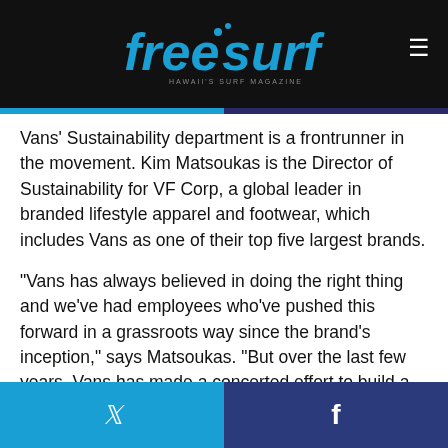freesurf — Hawaii's Surf Magazine
Vans' Sustainability department is a frontrunner in the movement. Kim Matsoukas is the Director of Sustainability for VF Corp, a global leader in branded lifestyle apparel and footwear, which includes Vans as one of their top five largest brands.
“Vans has always believed in doing the right thing and we’ve had employees who’ve pushed this forward in a grassroots way since the brand’s inception,” says Matsoukas. “But over the last few years, Vans has made a concerted effort to build a real strategy around sustainability, to measure how we are doing, to set goals and to integrate sustainable thinking into different functions.”
Twitter | Facebook